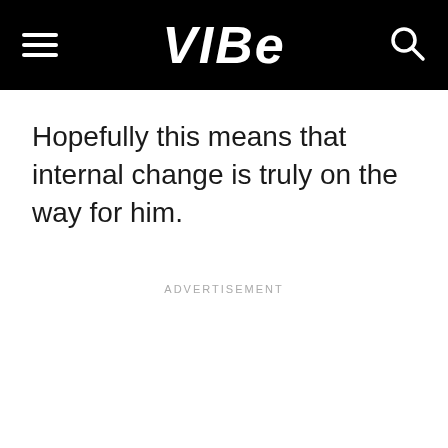VIBE
Hopefully this means that internal change is truly on the way for him.
ADVERTISEMENT